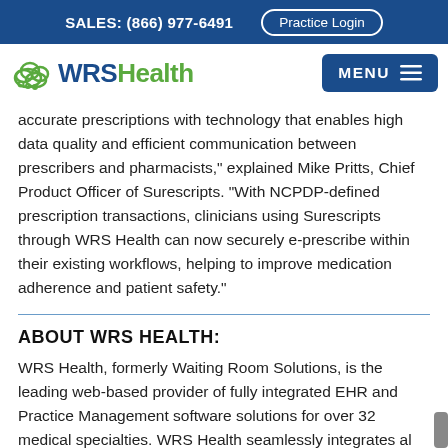SALES: (866) 977-6491   Practice Login
[Figure (logo): WRS Health logo with cloud icon and green/blue text]
accurate prescriptions with technology that enables high data quality and efficient communication between prescribers and pharmacists," explained Mike Pritts, Chief Product Officer of Surescripts. “With NCPDP-defined prescription transactions, clinicians using Surescripts through WRS Health can now securely e-prescribe within their existing workflows, helping to improve medication adherence and patient safety."
ABOUT WRS HEALTH:
WRS Health, formerly Waiting Room Solutions, is the leading web-based provider of fully integrated EHR and Practice Management software solutions for over 32 medical specialties. WRS Health seamlessly integrates al